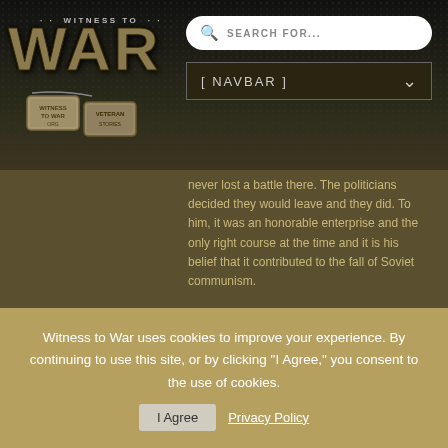[Figure (screenshot): Witness to War website logo with dog tags, dark textured background]
WITNESS TO WAR
[ NAVBAR ]
never lost a battle there. The politicians decided they would leave and they did. To him, it was an honorable enterprise and the only right course at the time and it is his belief that it contributed to the fall of Soviet communism.
[Figure (photo): Video thumbnail showing LTG (Ret) John Le Moyne with play button overlay]
LTG (RET) JOHN LE MOYNE - ARMY
+15 Total Videos
Military Assistance Command, Vietnam (MACV)
Witness to War uses cookies to improve your experience. By continuing to use this site, or by clicking "I Agree," you consent to the use of cookies.